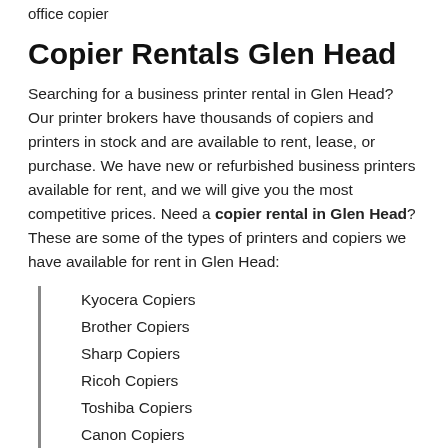office copier
Copier Rentals Glen Head
Searching for a business printer rental in Glen Head? Our printer brokers have thousands of copiers and printers in stock and are available to rent, lease, or purchase. We have new or refurbished business printers available for rent, and we will give you the most competitive prices. Need a copier rental in Glen Head? These are some of the types of printers and copiers we have available for rent in Glen Head:
Kyocera Copiers
Brother Copiers
Sharp Copiers
Ricoh Copiers
Toshiba Copiers
Canon Copiers